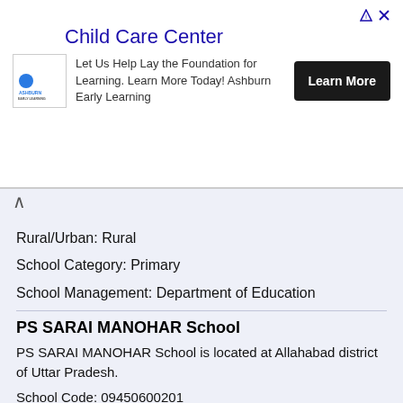[Figure (other): Advertisement banner for Ashburn Child Care Center with logo, description text, and Learn More button]
Rural/Urban: Rural
School Category: Primary
School Management: Department of Education
PS SARAI MANOHAR School
PS SARAI MANOHAR School is located at Allahabad district of Uttar Pradesh.
School Code: 09450600201
Block: Phulpur
Panchayat/Village/Muncipality/Corporation/Town: SARAI MANOHAR
Rural/Urban: Rural